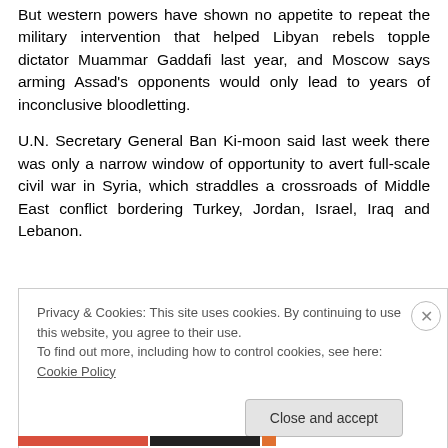But western powers have shown no appetite to repeat the military intervention that helped Libyan rebels topple dictator Muammar Gaddafi last year, and Moscow says arming Assad's opponents would only lead to years of inconclusive bloodletting.
U.N. Secretary General Ban Ki-moon said last week there was only a narrow window of opportunity to avert full-scale civil war in Syria, which straddles a crossroads of Middle East conflict bordering Turkey, Jordan, Israel, Iraq and Lebanon.
Privacy & Cookies: This site uses cookies. By continuing to use this website, you agree to their use.
To find out more, including how to control cookies, see here: Cookie Policy
Close and accept